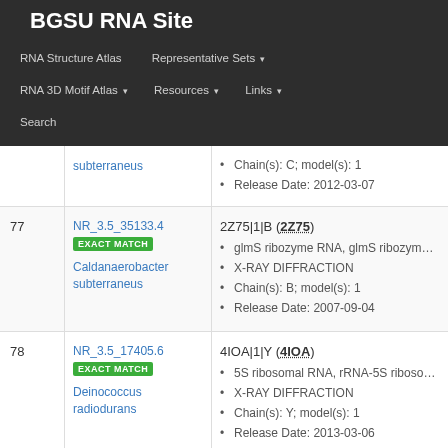BGSU RNA Site
RNA Structure Atlas | Representative Sets ▾ | RNA 3D Motif Atlas ▾ | Resources ▾ | Links ▾ | Search
| # | Cluster ID / Organism | PDB Entry / Details |
| --- | --- | --- |
|  | subterraneus | Chain(s): C; model(s): 1 | Release Date: 2012-03-07 |
| 77 | NR_3.5_35133.4 EXACT MATCH Caldanaerobacter subterraneus | 2Z75|1|B (2Z75) | glmS ribozyme RNA, glmS ribozyme pro... | X-RAY DIFFRACTION | Chain(s): B; model(s): 1 | Release Date: 2007-09-04 |
| 78 | NR_3.5_17405.6 EXACT MATCH Deinococcus radiodurans | 4IOA|1|Y (4IOA) | 5S ribosomal RNA, rRNA-5S ribosomal R... | X-RAY DIFFRACTION | Chain(s): Y; model(s): 1 | Release Date: 2013-03-06 |